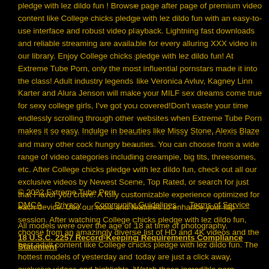pledge with lez dildo fun ! Browse page after page of premium video content like College chicks pledge with lez dildo fun with an easy-to-use interface and robust video playback. Lightning fast downloads and reliable streaming are available for every alluring XXX video in our library. Enjoy College chicks pledge with lez dildo fun! At Extreme Tube Porn, only the most influential pornstars made it into the class! Adult industry legends like Veronica Avluv, Kagney Linn Karter and Alura Jenson will make your MILF sex dreams come true for sexy college girls, I've got you covered!Don't waste your time endlessly scrolling through other websites when Extreme Tube Porn makes it so easy. Indulge in beauties like Missy Stone, Alexis Blaze and many other cock hungry beauties. You can choose from a wide range of video categories including creampie, big tits, threesomes, etc. After College chicks pledge with lez dildo fun, check out all our exclusive videos by Newest Scene, Top Rated, or search for just that Flavor you crave. A fully customizable experience optimized for each device. Use our tools and features to enhance your fap session. After watching College chicks pledge with lez dildo fun, choose from an amazingly diverse list of HD and 4K videos and the best adult content like College chicks pledge with lez dildo fun. The hottest models of yesterday and today are just a click away, exclusive videos and highlights. Watch these incredible porn beauties fill the screen in amazing detail as they fill themselves!
© 2022 Extreme Tube Porn
DMCA   Privacy   Community Guidelines   Terms of Service
All models were over the age of 18 at time of photography.
18 U.S.C. 2257 Record-Keeping Requirements Compliance Statement